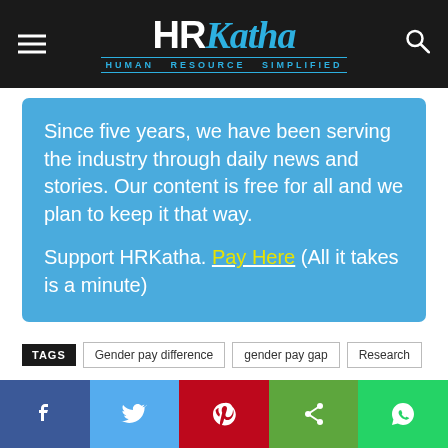HRKatha — Human Resource Simplified
Since five years, we have been serving the industry through daily news and stories. Our content is free for all and we plan to keep it that way.

Support HRKatha. Pay Here (All it takes is a minute)
TAGS  Gender pay difference  gender pay gap  Research
Previous article   Next article
Social share bar: Facebook, Twitter, Pinterest, Share, WhatsApp